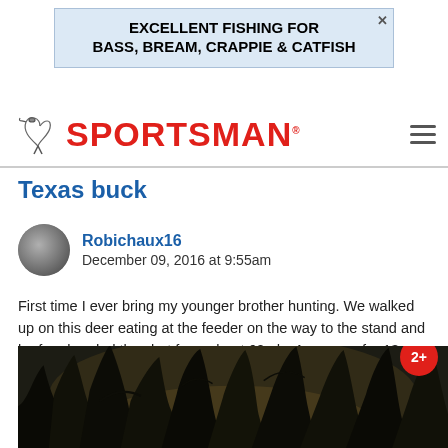[Figure (other): Advertisement banner: 'EXCELLENT FISHING FOR BASS, BREAM, CRAPPIE & CATFISH' on light blue background]
SPORTSMAN logo with bird icon and hamburger menu
Texas buck
Robichaux16
December 09, 2016 at 9:55am
First time I ever bring my younger brother hunting. We walked up on this deer eating at the feeder on the way to the stand and he free handed the shot from about 60yds. Awesome for 13 year old. And a trophey buck most adults haven't shot a buck with 14 points thats cores 161 6/8 on open range…
View Full Report
[Figure (photo): Outdoor photo of trees/branches silhouetted against sky, with a 2+ badge in red circle in the corner]